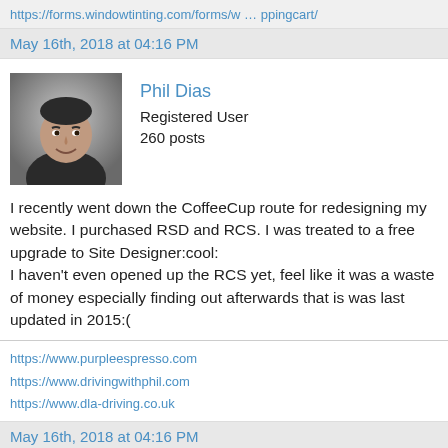https://forms.windowtinting.com/forms/w ... ppingcart/
May 16th, 2018 at 04:16 PM
[Figure (photo): Black and white portrait photo of Phil Dias, a man in a dark shirt smiling.]
Phil Dias
Registered User
260 posts
I recently went down the CoffeeCup route for redesigning my website. I purchased RSD and RCS. I was treated to a free upgrade to Site Designer:cool:
I haven't even opened up the RCS yet, feel like it was a waste of money especially finding out afterwards that is was last updated in 2015:(
https://www.purpleespresso.com
https://www.drivingwithphil.com
https://www.dla-driving.co.uk
May 16th, 2018 at 04:16 PM